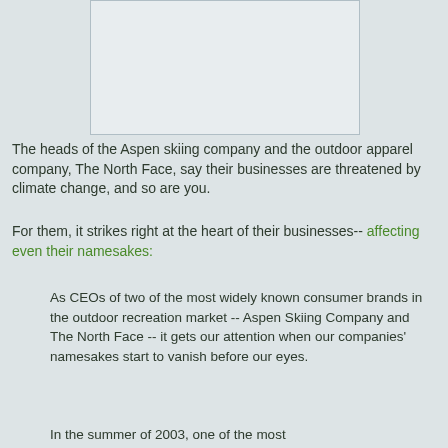[Figure (photo): Image placeholder box at top center of page]
The heads of the Aspen skiing company and the outdoor apparel company, The North Face, say their businesses are threatened by climate change, and so are you.
For them, it strikes right at the heart of their businesses-- affecting even their namesakes:
As CEOs of two of the most widely known consumer brands in the outdoor recreation market -- Aspen Skiing Company and The North Face -- it gets our attention when our companies' namesakes start to vanish before our eyes.
In the summer of 2003, one of the most